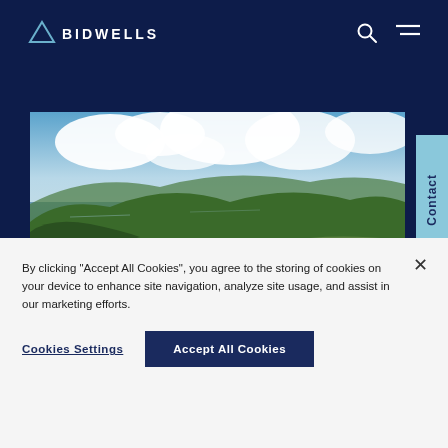BIDWELLS
[Figure (photo): Aerial landscape photograph showing a Scottish coastal scene with mountains, a sea loch, green hillsides, and dramatic clouds over blue sky.]
Contact
By clicking "Accept All Cookies", you agree to the storing of cookies on your device to enhance site navigation, analyze site usage, and assist in our marketing efforts.
Cookies Settings
Accept All Cookies